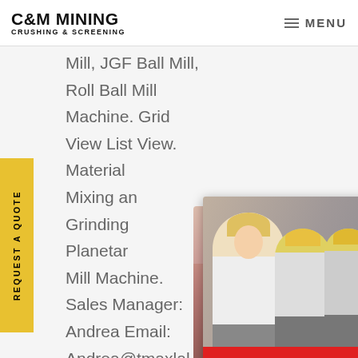C&M MINING CRUSHING & SCREENING  ≡ MENU
Mill, JGF Ball Mill, Roll Ball Mill Machine. Grid View List View. Material Mixing and Grinding Planetary Mill Machine. Sales Manager: Andrea Email: Andrea@tmaxlab Wechat: 18250801164.
[Figure (screenshot): Side tab button reading REQUEST A QUOTE rotated vertically on yellow background]
[Figure (screenshot): Live Chat popup with workers in hard hats, LIVE CHAT title in red italic, 'Click for a Free Consultation' subtitle, Chat now (red) and Chat later (dark) buttons]
[Figure (screenshot): Customer service agent widget with smiling woman wearing headset, dark navy info box reading 'Have any requests, click here.' and gold Quotation button]